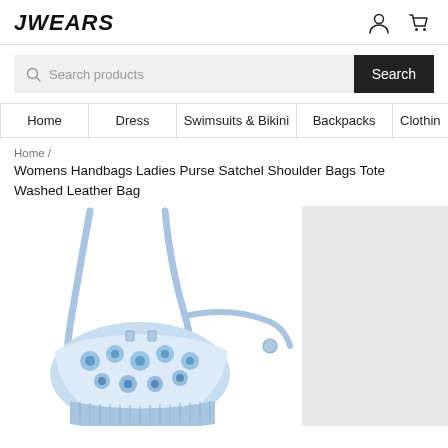JWEARS
Search products
Home | Dress | Swimsuits & Bikini | Backpacks | Clothing
Home /
Womens Handbags Ladies Purse Satchel Shoulder Bags Tote Washed Leather Bag
[Figure (photo): A light blue floral-patterned women's handbag/satchel with shoulder straps, displayed against a white background. The bag features a blue and white flower print on washed leather material.]